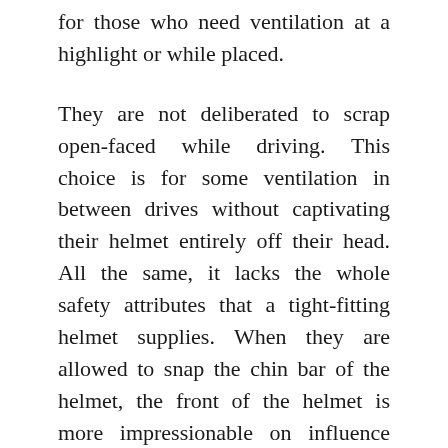for those who need ventilation at a highlight or while placed.
They are not deliberated to scrap open-faced while driving. This choice is for some ventilation in between drives without captivating their helmet entirely off their head. All the same, it lacks the whole safety attributes that a tight-fitting helmet supplies. When they are allowed to snap the chin bar of the helmet, the front of the helmet is more impressionable on influence versus a tight-filling helmet.
It is ideal for the rider who needs to freak out their chin bar and have a consultation with an individual rider at a highlight or when they modify their bike. Most representations go along with fitted sun visors to supply increasingly